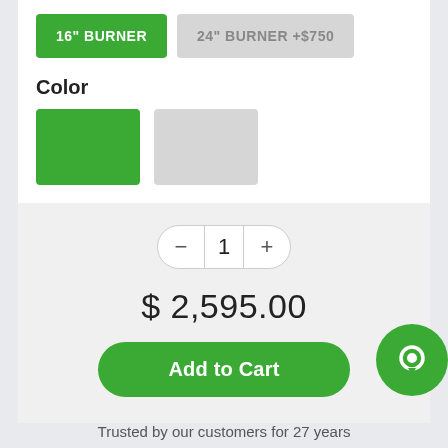16" BURNER
24" BURNER +$750
Color
[Figure (other): Two color swatches: green and light gray]
1
$ 2,595.00
Add to Cart
[Figure (other): Social share icons: Facebook, Twitter, Google+, Pinterest]
[Figure (other): Chat bubble icon (green circle)]
Trusted by our customers for 27 years